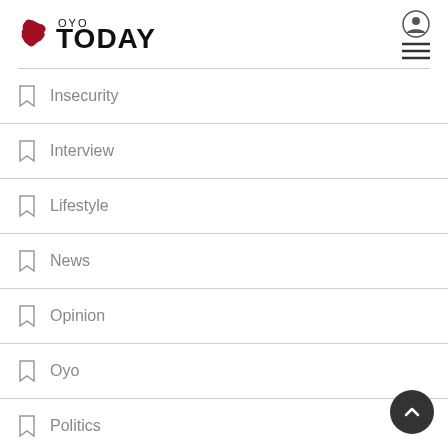[Figure (logo): Oyo Today newspaper logo with red map of Nigeria and bold black text]
Insecurity
Interview
Lifestyle
News
Opinion
Oyo
Politics